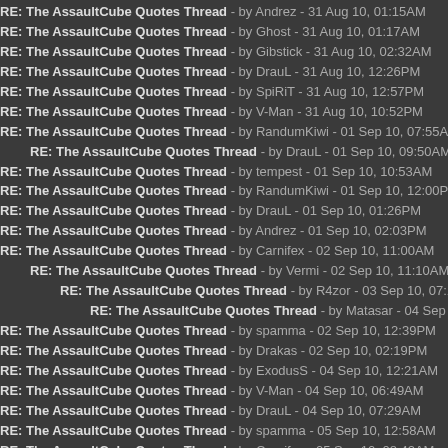RE: The AssaultCube Quotes Thread - by Andrez - 31 Aug 10, 01:15AM
RE: The AssaultCube Quotes Thread - by Ghost - 31 Aug 10, 01:17AM
RE: The AssaultCube Quotes Thread - by Gibstick - 31 Aug 10, 02:32AM
RE: The AssaultCube Quotes Thread - by DrauL - 31 Aug 10, 12:26PM
RE: The AssaultCube Quotes Thread - by SpiRiT - 31 Aug 10, 12:57PM
RE: The AssaultCube Quotes Thread - by V-Man - 31 Aug 10, 10:52PM
RE: The AssaultCube Quotes Thread - by RandumKiwi - 01 Sep 10, 07:55AM
RE: The AssaultCube Quotes Thread - by DrauL - 01 Sep 10, 09:50AM
RE: The AssaultCube Quotes Thread - by tempest - 01 Sep 10, 10:53AM
RE: The AssaultCube Quotes Thread - by RandumKiwi - 01 Sep 10, 12:00PM
RE: The AssaultCube Quotes Thread - by DrauL - 01 Sep 10, 01:26PM
RE: The AssaultCube Quotes Thread - by Andrez - 01 Sep 10, 02:03PM
RE: The AssaultCube Quotes Thread - by Carnifex - 02 Sep 10, 11:00AM
RE: The AssaultCube Quotes Thread - by Vermi - 02 Sep 10, 11:10AM
RE: The AssaultCube Quotes Thread - by R4zor - 03 Sep 10, 07:14AM
RE: The AssaultCube Quotes Thread - by Matasar - 04 Sep 10, 09:56PM
RE: The AssaultCube Quotes Thread - by spamma - 02 Sep 10, 12:39PM
RE: The AssaultCube Quotes Thread - by Drakas - 02 Sep 10, 02:19PM
RE: The AssaultCube Quotes Thread - by ExodusS - 04 Sep 10, 12:21AM
RE: The AssaultCube Quotes Thread - by V-Man - 04 Sep 10, 06:49AM
RE: The AssaultCube Quotes Thread - by DrauL - 04 Sep 10, 07:29AM
RE: The AssaultCube Quotes Thread - by spamma - 05 Sep 10, 12:58AM
RE: The AssaultCube Quotes Thread - by Carnifex - 05 Sep 10, 08:42AM
RE: The AssaultCube Quotes Thread - by Orynge - 05 Sep 10, 08:47AM
RE: The AssaultCube Quotes Thread - by Lightning - 05 Sep 10, 11:43AM